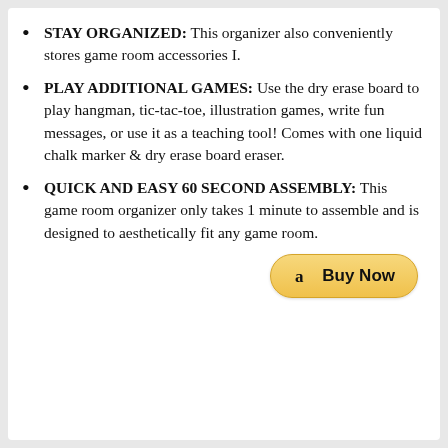STAY ORGANIZED: This organizer also conveniently stores game room accessories I.
PLAY ADDITIONAL GAMES: Use the dry erase board to play hangman, tic-tac-toe, illustration games, write fun messages, or use it as a teaching tool! Comes with one liquid chalk marker & dry erase board eraser.
QUICK AND EASY 60 SECOND ASSEMBLY: This game room organizer only takes 1 minute to assemble and is designed to aesthetically fit any game room.